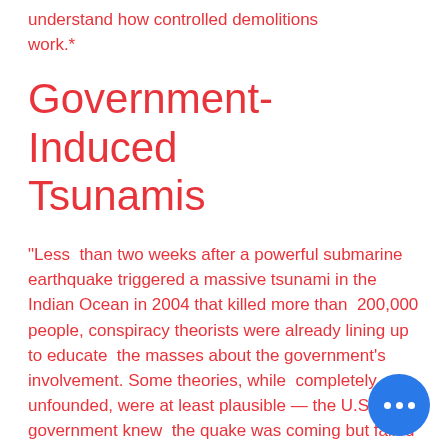understand how controlled demolitions work.*
Government-Induced Tsunamis
"Less than two weeks after a powerful submarine earthquake triggered a massive tsunami in the Indian Ocean in 2004 that killed more than 200,000 people, conspiracy theorists were already lining up to educate the masses about the government's involvement. Some theories, while completely unfounded, were at least plausible — the U.S. government knew the quake was coming but failed to act for any number of strategic/military reasons. Others were far-fetched to the point of being comical, like the one that says government" triggered the quake with a mysterious tectonic weapon to re-align the.*